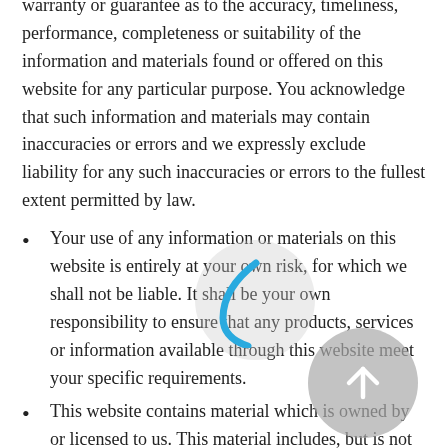warranty or guarantee as to the accuracy, timeliness, performance, completeness or suitability of the information and materials found or offered on this website for any particular purpose. You acknowledge that such information and materials may contain inaccuracies or errors and we expressly exclude liability for any such inaccuracies or errors to the fullest extent permitted by law.
Your use of any information or materials on this website is entirely at your own risk, for which we shall not be liable. It shall be your own responsibility to ensure that any products, services or information available through this website meet your specific requirements.
This website contains material which is owned by or licensed to us. This material includes, but is not